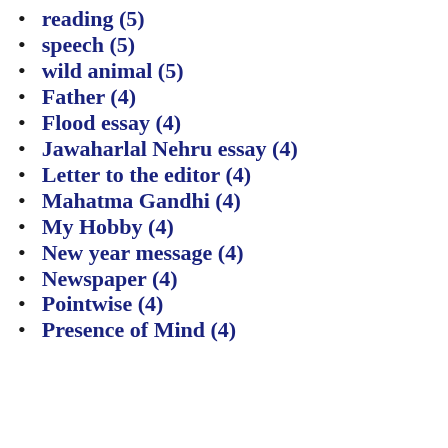reading (5)
speech (5)
wild animal (5)
Father (4)
Flood essay (4)
Jawaharlal Nehru essay (4)
Letter to the editor (4)
Mahatma Gandhi (4)
My Hobby (4)
New year message (4)
Newspaper (4)
Pointwise (4)
Presence of Mind (4)